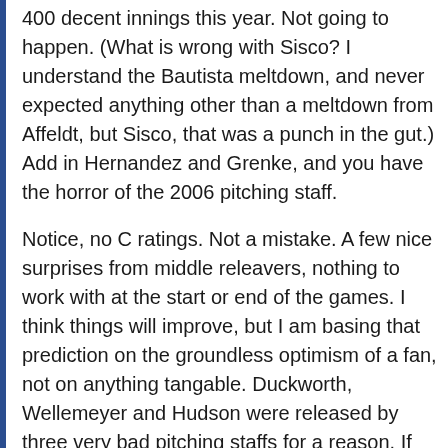400 decent innings this year. Not going to happen. (What is wrong with Sisco? I understand the Bautista meltdown, and never expected anything other than a meltdown from Affeldt, but Sisco, that was a punch in the gut.) Add in Hernandez and Grenke, and you have the horror of the 2006 pitching staff.
Notice, no C ratings. Not a mistake. A few nice surprises from middle releavers, nothing to work with at the start or end of the games. I think things will improve, but I am basing that prediction on the groundless optimism of a fan, not on anything tangable. Duckworth, Wellemeyer and Hudson were released by three very bad pitching staffs for a reason. If the last decade has taught us anything there is nothing magic about Kauffman that allows a bad pitcher to become a good pitcher by donning the powder blue. That said, I'm happy to have those